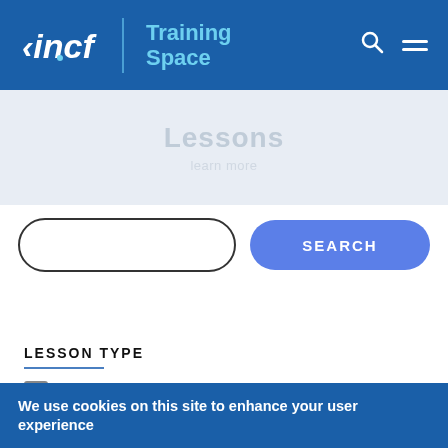incf | Training Space
Lessons
learn more
[Figure (screenshot): Search input field (empty, rounded border) and SEARCH button (blue, rounded)]
LESSON TYPE
Video (17)
Slides (16)
We use cookies on this site to enhance your user experience